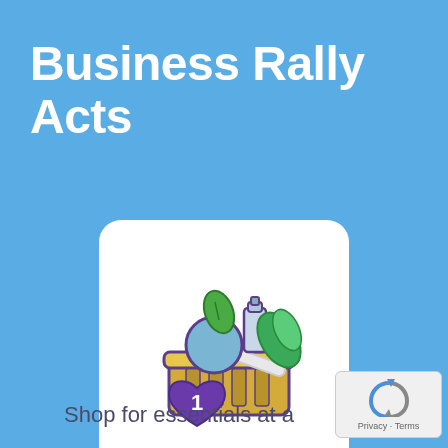Business Rally Acts
[Figure (illustration): Shopping basket icon with groceries (fruit with leaf, bottle, vegetables), a purple heart with number 1 badge, and a yellow wicker basket body. White rounded rectangle card background.]
Shop for essentials at a